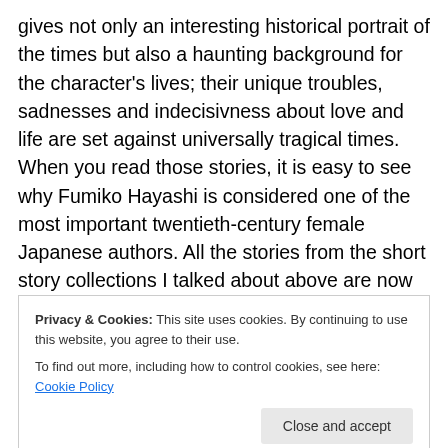gives not only an interesting historical portrait of the times but also a haunting background for the character's lives; their unique troubles, sadnesses and indecisivness about love and life are set against universally tragical times. When you read those stories, it is easy to see why Fumiko Hayashi is considered one of the most important twentieth-century female Japanese authors. All the stories from the short story collections I talked about above are now united in a single paper-back edition, plus an additional short story called “The Tryst”. All together nine beautiful short stories and you can check them out here
Privacy & Cookies: This site uses cookies. By continuing to use this website, you agree to their use.
To find out more, including how to control cookies, see here: Cookie Policy
Close and accept